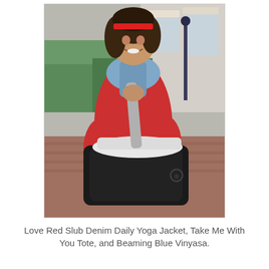[Figure (photo): A smiling woman with curly hair wearing a red jacket and red headband, carrying a large black yoga tote bag with white contents visible at the top, and a light blue scarf around her neck. She is standing outdoors in what appears to be a shopping area or outdoor mall.]
Love Red Slub Denim Daily Yoga Jacket, Take Me With You Tote, and Beaming Blue Vinyasa.